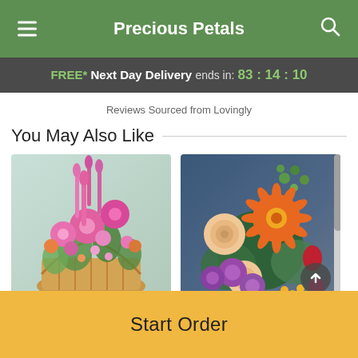Precious Petals
FREE* Next Day Delivery ends in: 83:14:10
Reviews Sourced from Lovingly
You May Also Like
[Figure (photo): Pink flower arrangement in a wicker basket with various pink and orange blooms]
[Figure (photo): Colorful mixed flower bouquet with orange gerberas, pink chrysanthemums, peach roses and green accents]
Start Order